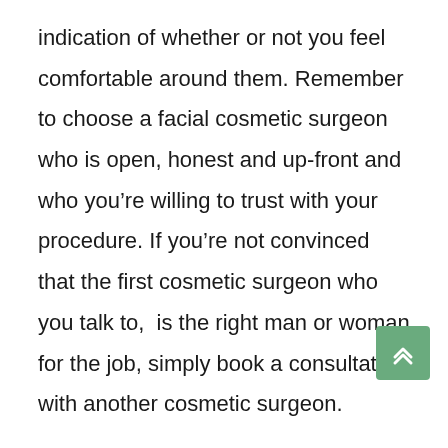indication of whether or not you feel comfortable around them. Remember to choose a facial cosmetic surgeon who is open, honest and up-front and who you're willing to trust with your procedure. If you're not convinced that the first cosmetic surgeon who you talk to, is the right man or woman for the job, simply book a consultation with another cosmetic surgeon.

If you follow all of the useful tips